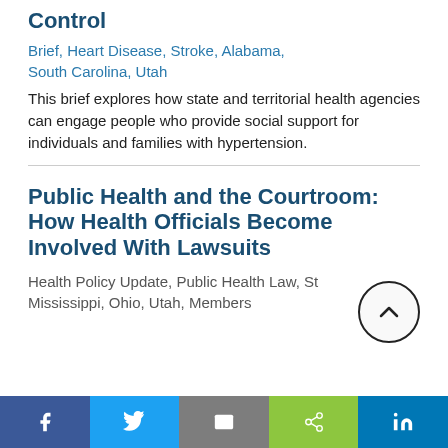Control
Brief, Heart Disease, Stroke, Alabama, South Carolina, Utah
This brief explores how state and territorial health agencies can engage people who provide social support for individuals and families with hypertension.
Public Health and the Courtroom: How Health Officials Become Involved With Lawsuits
Health Policy Update, Public Health Law, St... Mississippi, Ohio, Utah, Members
f  Twitter  Email  Share  in